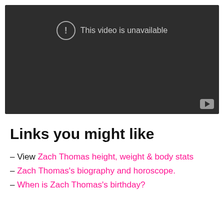[Figure (screenshot): Embedded video player showing 'This video is unavailable' message on dark background with YouTube logo in bottom-right corner.]
Links you might like
– View Zach Thomas height, weight & body stats
– Zach Thomas's biography and horoscope.
– When is Zach Thomas's birthday?